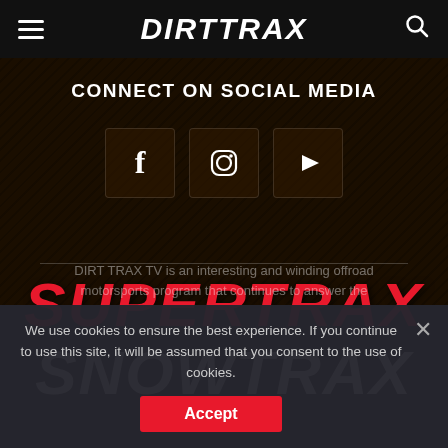DIRTTRAX
CONNECT ON SOCIAL MEDIA
[Figure (infographic): Three social media icons in bordered boxes: Facebook (f), Instagram (circle with inner shapes), YouTube (play button triangle)]
[Figure (logo): SUPERTRAX logo in large bold italic red text]
[Figure (logo): SNOWTRAX logo in large bold italic white text]
We use cookies to ensure the best experience. If you continue to use this site, it will be assumed that you consent to the use of cookies.
Accept
DIRT TRAX TV is an interesting and winding offroad motorsports program that continues to answer the